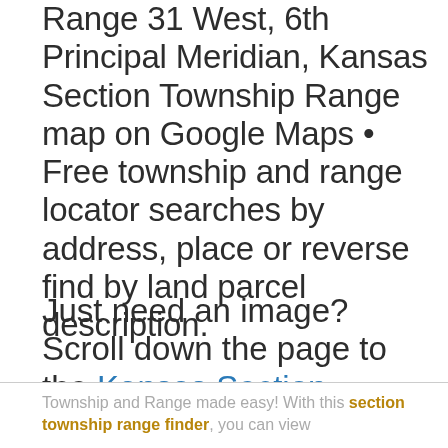Range 31 West, 6th Principal Meridian, Kansas Section Township Range map on Google Maps • Free township and range locator searches by address, place or reverse find by land parcel description.
Just need an image? Scroll down the page to the Kansas Section Township Range Map Image
Township and Range made easy! With this section township range finder, you can view